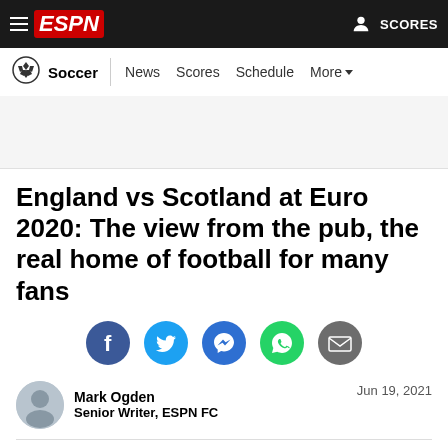ESPN — Soccer | News Scores Schedule More
[Figure (illustration): Gray advertisement banner placeholder area]
England vs Scotland at Euro 2020: The view from the pub, the real home of football for many fans
[Figure (infographic): Social sharing icons: Facebook, Twitter, Messenger, WhatsApp, Email]
Mark Ogden
Senior Writer, ESPN FC
Jun 19, 2021
MANCHESTER, England --It was a quiet night in the Bay